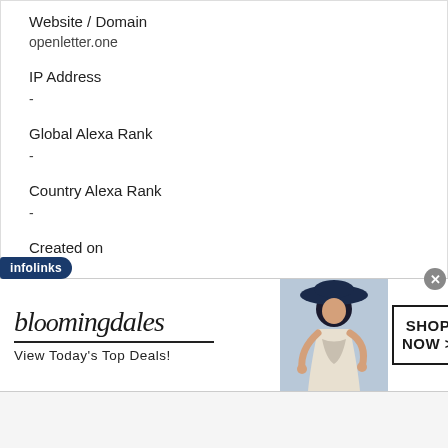Website / Domain
openletter.one
IP Address
-
Global Alexa Rank
-
Country Alexa Rank
-
Created on
-
Updated on
-
[Figure (infographic): infolinks ad label overlay and partial text at bottom of content area]
[Figure (infographic): Bloomingdale's advertisement banner with logo, tagline 'View Today's Top Deals!', model photo, and SHOP NOW button with close button]